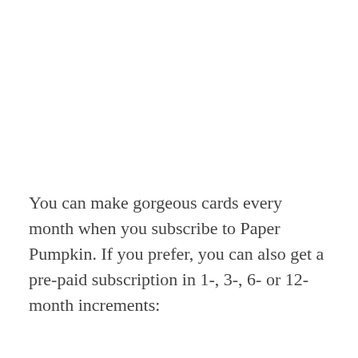You can make gorgeous cards every month when you subscribe to Paper Pumpkin. If you prefer, you can also get a pre-paid subscription in 1-, 3-, 6- or 12-month increments: